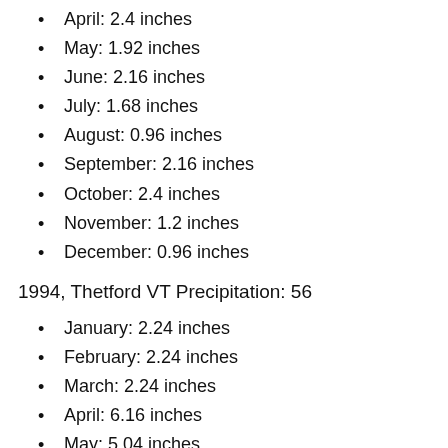April: 2.4 inches
May: 1.92 inches
June: 2.16 inches
July: 1.68 inches
August: 0.96 inches
September: 2.16 inches
October: 2.4 inches
November: 1.2 inches
December: 0.96 inches
1994, Thetford VT Precipitation: 56
January: 2.24 inches
February: 2.24 inches
March: 2.24 inches
April: 6.16 inches
May: 5.04 inches
June: 5.6 inches
July: 4.48 inches
August: 1.68 inches